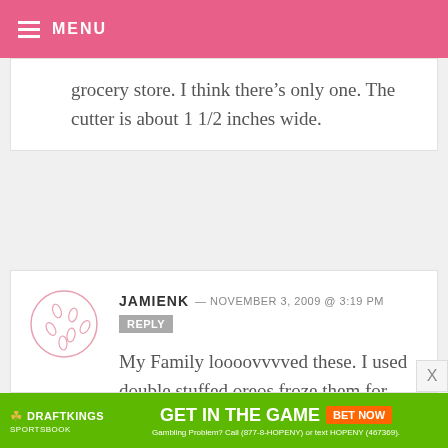MENU
grocery store. I think there’s only one. The cutter is about 1 1/2 inches wide.
JAMIENK — NOVEMBER 3, 2009 @ 3:19 PM REPLY
My Family loooovvvved these. I used double stuffed oreos froze them for about 15 minutes and they were good to dip. I made two batches one was the Vanilla bark and the other the Chocolate bark they were absolutely
[Figure (other): DraftKings Sportsbook advertisement banner: GET IN THE GAME BET NOW. Gambling Problem? Call (877-8-HOPENY) or text HOPENY (467369).]